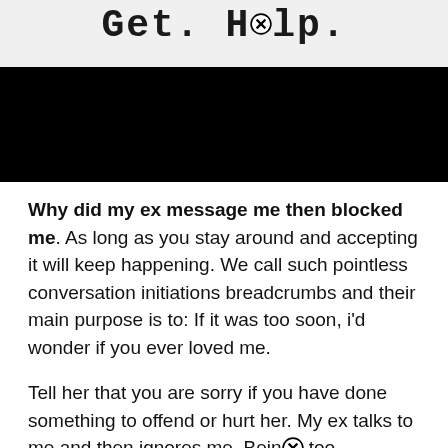Get. Help.
[Figure (photo): Black rectangular image block, content redacted/blacked out]
Why did my ex message me then blocked me. As long as you stay around and accepting it will keep happening. We call such pointless conversation initiations breadcrumbs and their main purpose is to: If it was too soon, i'd wonder if you ever loved me.
Tell her that you are sorry if you have done something to offend or hurt her. My ex talks to me and then ignores me. Being too emotional and